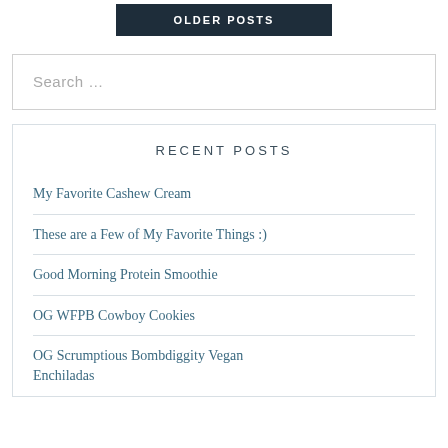OLDER POSTS
Search …
RECENT POSTS
My Favorite Cashew Cream
These are a Few of My Favorite Things :)
Good Morning Protein Smoothie
OG WFPB Cowboy Cookies
OG Scrumptious Bombdiggity Vegan Enchiladas